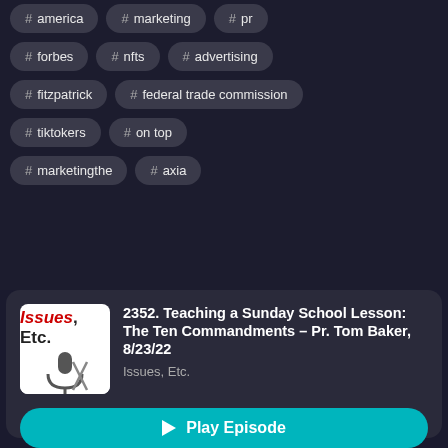# america
# marketing
# pr
# forbes
# nfts
# advertising
# fitzpatrick
# federal trade commission
# tiktokers
# on top
# marketingthe
# axia
2352. Teaching a Sunday School Lesson: The Ten Commandments – Pr. Tom Baker, 8/23/22
Issues, Etc.
Play Episode